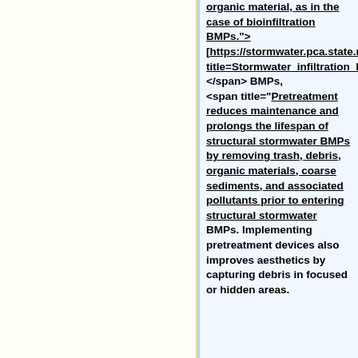organic material, as in the case of bioinfiltration BMPs."> [https://stormwater.pca.state.mn.us/index.php?title=Stormwater_infiltration_Best_Management_Practices_'infiltration']]</span> BMPs, <span title="Pretreatment reduces maintenance and prolongs the lifespan of structural stormwater BMPs by removing trash, debris, organic materials, coarse sediments, and associated pollutants prior to entering structural stormwater BMPs. Implementing pretreatment devices also improves aesthetics by capturing debris in focused or hidden areas.